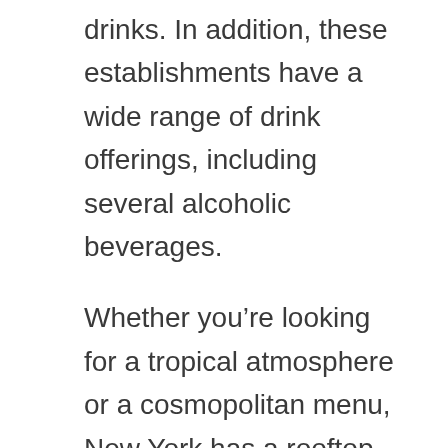drinks. In addition, these establishments have a wide range of drink offerings, including several alcoholic beverages.
Whether you’re looking for a tropical atmosphere or a cosmopolitan menu, New York has a rooftop that will suit your style. While there’s no official dress code, it's best to wear something comfortable that doesn’t make you feel claustrophobic. Generally, you’ll want to wear a sweater or jacket, but you’ll likely get a little chill. Most rooftops offer a great view, and most are open late.
For a tiki-themed bar, check out Good